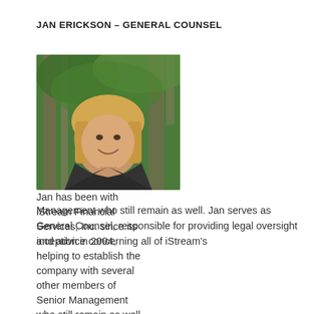JAN ERICKSON – GENERAL COUNSEL
[Figure (photo): Professional headshot of Jan Erickson, a blonde woman smiling, wearing a black blazer over a green shirt, photographed outdoors in a wooded setting]
Jan has been with iStream Financial Services, Inc. since its inception in 2004, helping to establish the company with several other members of Senior Management who still remain as well.  Jan serves as General Counsel, responsible for providing legal oversight and advice concerning all of iStream's